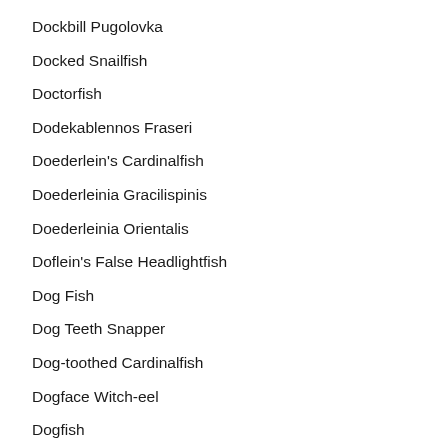Dockbill Pugolovka
Docked Snailfish
Doctorfish
Dodekablennos Fraseri
Doederlein's Cardinalfish
Doederleinia Gracilispinis
Doederleinia Orientalis
Doflein's False Headlightfish
Dog Fish
Dog Teeth Snapper
Dog-toothed Cardinalfish
Dogface Witch-eel
Dogfish
Dogfish Shark